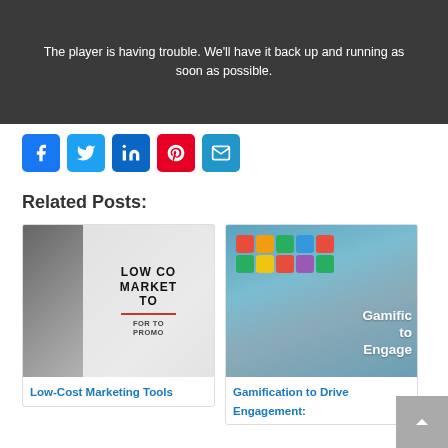[Figure (screenshot): Video player error screen with dark background showing group of women, with text overlay: 'The player is having trouble. We'll have it back up and running as soon as possible.']
[Figure (infographic): Row of social sharing icon buttons: Facebook (blue), Twitter (light blue), LinkedIn (dark blue), Pinterest (red), Email (blue)]
Related Posts:
[Figure (photo): Thumbnail image for 'Low-Cost Marketing Tools' post — grayscale image with text overlay showing 'LOW CO... MARKET... TO... FOR TO... PROMO...']
Low-Cost Marketing Tools
[Figure (photo): Thumbnail image for 'Gamification to Drive Engagement' post — colorful mobile game screenshot with text overlay 'Gamific... to Engage...']
Gamification to Drive Engagement: